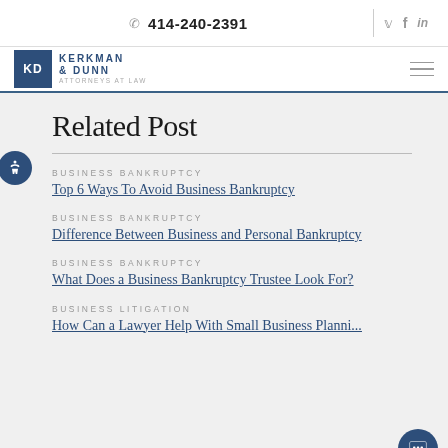📞 414-240-2391   🐦  f  in
[Figure (logo): Kerkman & Dunn Attorneys at Law logo with KD monogram in blue square]
Related Post
BUSINESS BANKRUPTCY
Top 6 Ways To Avoid Business Bankruptcy
BUSINESS BANKRUPTCY
Difference Between Business and Personal Bankruptcy
BUSINESS BANKRUPTCY
What Does a Business Bankruptcy Trustee Look For?
BUSINESS LITIGATION
How Can a Lawyer Help With Small Business Planning...